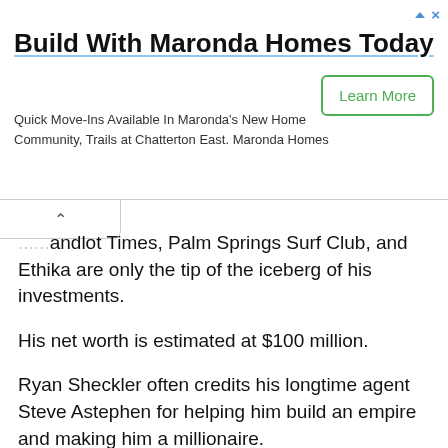[Figure (other): Advertisement banner for Maronda Homes with title 'Build With Maronda Homes Today', subtitle text, and a 'Learn More' button]
...andlot Times, Palm Springs Surf Club, and Ethika are only the tip of the iceberg of his investments.
His net worth is estimated at $100 million.
Ryan Sheckler often credits his longtime agent Steve Astephen for helping him build an empire and making him a millionaire.
Shecler's most famous nickname is "Shecks."
He is the star of four video games: Tony Hawk's Underground 2, Tony Hawk's American Wasteland, Tony Hawk's Project 8, and Tony Hawk's Proving Ground.